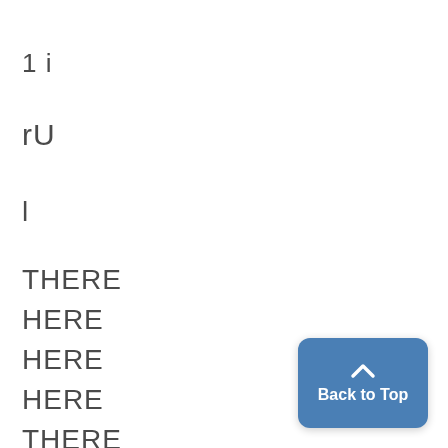1 i
rU
l
THERE
HERE
HERE
HERE
THERE
l
[Figure (other): Back to Top button — blue rounded rectangle with upward caret arrow and 'Back to Top' label]